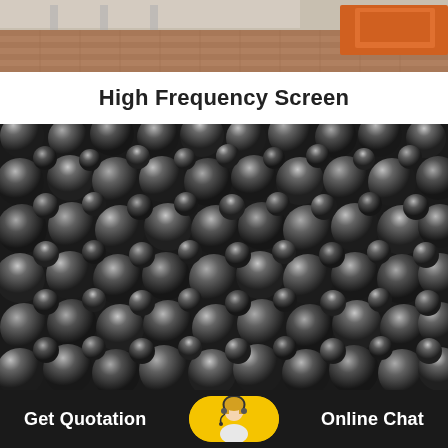[Figure (photo): Partial view of an industrial facility with patterned brick flooring and orange/yellow machinery in background]
High Frequency Screen
[Figure (photo): Close-up photo of a large pile of dark metallic grinding balls/steel balls used in ball mills]
Get Quotation   Online Chat